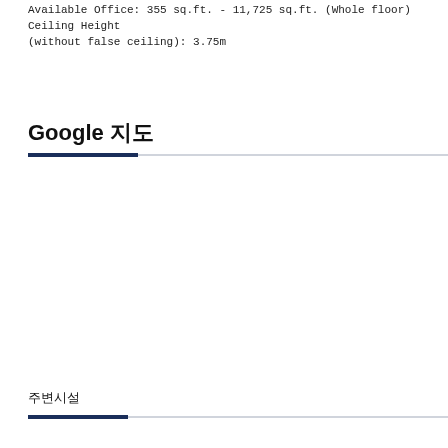Available Office: 355 sq.ft. - 11,725 sq.ft. (Whole floor) Ceiling Height (without false ceiling): 3.75m
Google 지도
주변시설